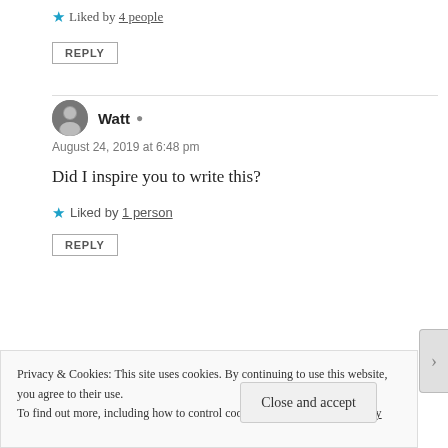★ Liked by 4 people
REPLY
Watt
August 24, 2019 at 6:48 pm
Did I inspire you to write this?
★ Liked by 1 person
REPLY
Privacy & Cookies: This site uses cookies. By continuing to use this website, you agree to their use. To find out more, including how to control cookies, see here: Cookie Policy
Close and accept